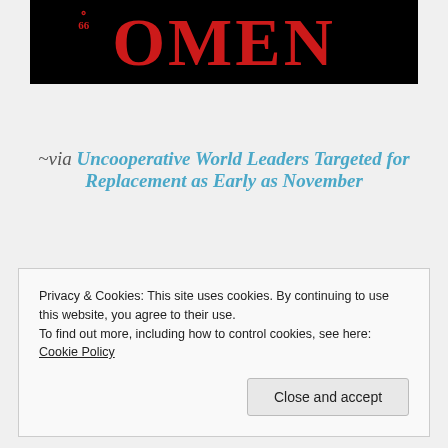[Figure (photo): Black background image showing large red bold text 'OMEN' with a circular symbol containing '66' on the left side]
~via Uncooperative World Leaders Targeted for Replacement as Early as November
Privacy & Cookies: This site uses cookies. By continuing to use this website, you agree to their use.
To find out more, including how to control cookies, see here: Cookie Policy